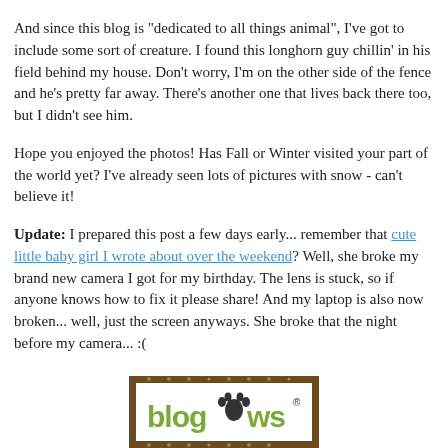And since this blog is "dedicated to all things animal", I've got to include some sort of creature. I found this longhorn guy chillin' in his field behind my house. Don't worry, I'm on the other side of the fence and he's pretty far away. There's another one that lives back there too, but I didn't see him.
Hope you enjoyed the photos! Has Fall or Winter visited your part of the world yet? I've already seen lots of pictures with snow - can't believe it!
Update: I prepared this post a few days early... remember that cute little baby girl I wrote about over the weekend? Well, she broke my brand new camera I got for my birthday. The lens is stuck, so if anyone knows how to fix it please share! And my laptop is also now broken... well, just the screen anyways. She broke that the night before my camera... :(
[Figure (logo): BlogPaws logo — partial view showing green and brown 'blogpaws' text with a paw print icon, decorative border with brown and green floral pattern]